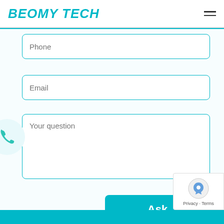BEOMY TECH
Phone
Email
Your question
Ask
Privacy · Terms